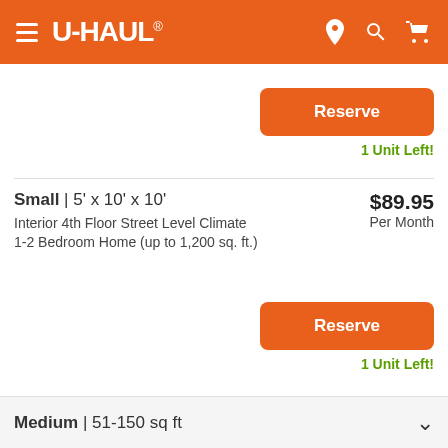[Figure (screenshot): U-Haul website header with orange background, hamburger menu, U-Haul logo, and location/search/cart icons]
Reserve
1 Unit Left!
Small | 5' x 10' x 10'
Interior 4th Floor Street Level Climate
1-2 Bedroom Home (up to 1,200 sq. ft.)
$89.95
Per Month
Reserve
1 Unit Left!
Medium | 51-150 sq ft